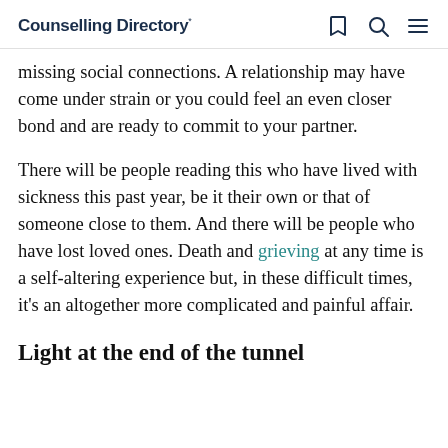Counselling Directory
missing social connections. A relationship may have come under strain or you could feel an even closer bond and are ready to commit to your partner.
There will be people reading this who have lived with sickness this past year, be it their own or that of someone close to them. And there will be people who have lost loved ones. Death and grieving at any time is a self-altering experience but, in these difficult times, it's an altogether more complicated and painful affair.
Light at the end of the tunnel